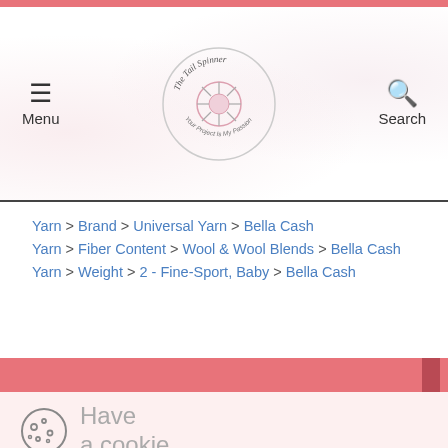The Tail Spinner — Menu | Search
Yarn > Brand > Universal Yarn > Bella Cash
Yarn > Fiber Content > Wool & Wool Blends > Bella Cash
Yarn > Weight > 2 - Fine-Sport, Baby > Bella Cash
Have a cookie
Accept the use of cookies on this site more information
I Accept